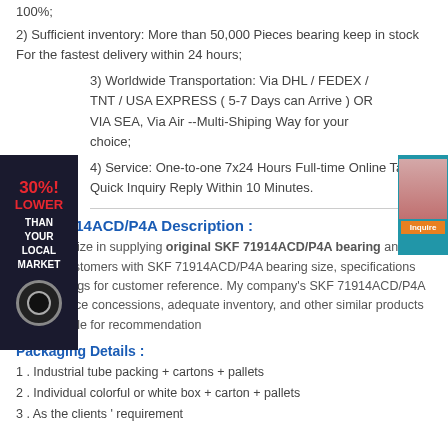100%;
2) Sufficient inventory: More than 50,000 Pieces bearing keep in stock For the fastest delivery within 24 hours;
3) Worldwide Transportation: Via DHL / FEDEX / TNT / USA EXPRESS ( 5-7 Days can Arrive ) OR VIA SEA, Via Air --Multi-Shiping Way for your choice;
4) Service: One-to-one 7x24 Hours Full-time Online Talk & Quick Inquiry Reply Within 10 Minutes.
[Figure (illustration): 30% Lower Than Your Local Market badge and chat support widget]
SKF 71914ACD/P4A Description :
We specialize in supplying original SKF 71914ACD/P4A bearing and provide customers with SKF 71914ACD/P4A bearing size, specifications and drawings for customer reference. My company's SKF 71914ACD/P4A bearing price concessions, adequate inventory, and other similar products are available for recommendation
Packaging Details :
1 . Industrial tube packing + cartons + pallets
2 . Individual colorful or white box + carton + pallets
3 . As the clients ' requirement